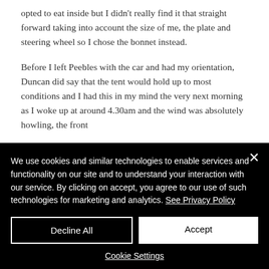opted to eat inside but I didn't really find it that straight forward taking into account the size of me, the plate and steering wheel so I chose the bonnet instead.
Before I left Peebles with the car and had my orientation, Duncan did say that the tent would hold up to most conditions and I had this in my mind the very next morning as I woke up at around 4.30am and the wind was absolutely howling, the front
We use cookies and similar technologies to enable services and functionality on our site and to understand your interaction with our service. By clicking on accept, you agree to our use of such technologies for marketing and analytics. See Privacy Policy
Decline All
Accept
Cookie Settings